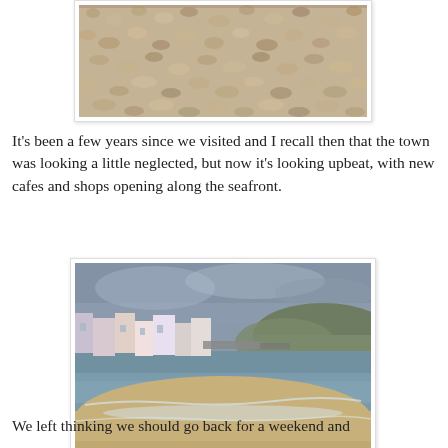[Figure (photo): Close-up of a pebbly/gravelly beach surface, cropped at top of page]
It's been a few years since we visited and I recall then that the town was looking a little neglected, but now it's looking upbeat, with new cafes and shops opening along the seafront.
[Figure (photo): Coastal town scene with sandy beach, sea with small waves, buildings and pier in background, hills under cloudy grey sky]
We left thinking we should go back for a weekend and